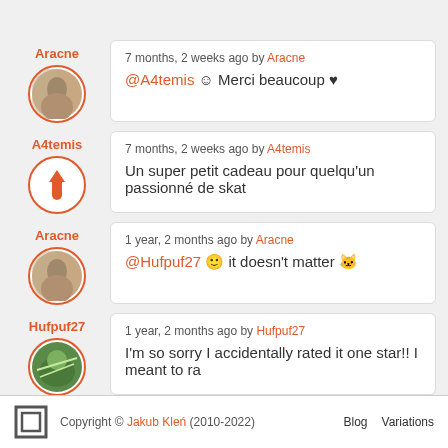Aracne — 7 months, 2 weeks ago by Aracne — @A4temis 😊 Merci beaucoup ♥
A4temis — 7 months, 2 weeks ago by A4temis — Un super petit cadeau pour quelqu'un passionné de ska
Aracne — 1 year, 2 months ago by Aracne — @Hufpuf27 🙂 it doesn't matter 🐱
Hufpuf27 — 1 year, 2 months ago by Hufpuf27 — I'm so sorry I accidentally rated it one star!! I meant to ra
Copyright © Jakub Kleń (2010-2022) Blog Variations